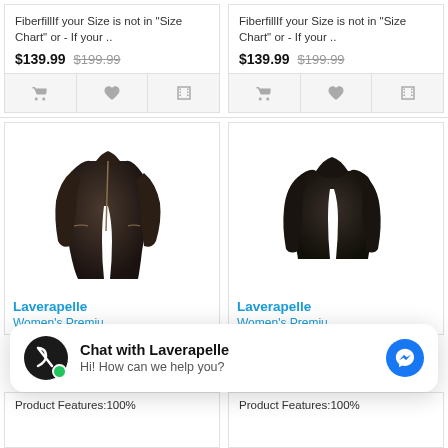FiberfillIf your Size is not in "Size Chart" or - If your .. $139.99 $199.99
FiberfillIf your Size is not in "Size Chart" or - If your .. $139.99 $199.99
[Figure (photo): Black moto leather jacket with zipper details, front view on white background]
Laverapelle
Women's Premiu...
[Figure (photo): Black slim leather jacket with wide lapels, front view on white background]
Laverapelle
Women's Premiu...
Chat with Laverapelle
Hi! How can we help you?
Product Features:100%
Product Features:100%